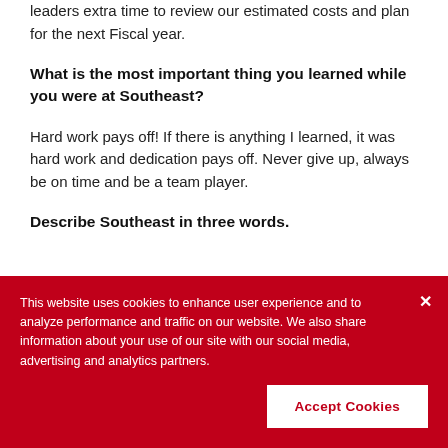leaders extra time to review our estimated costs and plan for the next Fiscal year.
What is the most important thing you learned while you were at Southeast?
Hard work pays off! If there is anything I learned, it was hard work and dedication pays off. Never give up, always be on time and be a team player.
Describe Southeast in three words.
This website uses cookies to enhance user experience and to analyze performance and traffic on our website. We also share information about your use of our site with our social media, advertising and analytics partners.